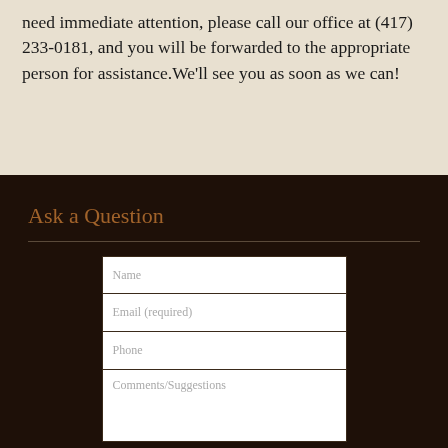need immediate attention, please call our office at (417) 233-0181, and you will be forwarded to the appropriate person for assistance. We'll see you as soon as we can!
Ask a Question
[Figure (other): Web form with fields: Name, Email (required), Phone, Comments/Suggestions]